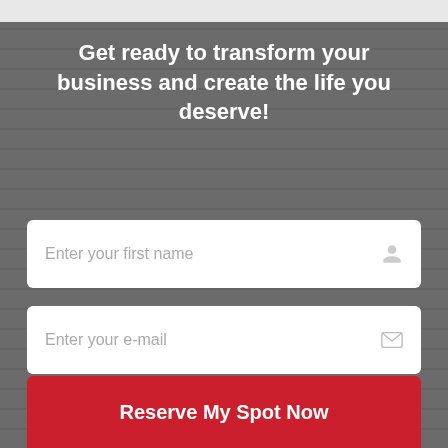Get ready to transform your business and create the life you deserve!
Enter your first name
Enter your e-mail
Reserve My Spot Now